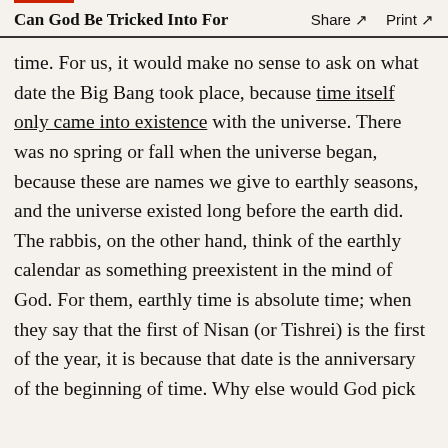Can God Be Tricked Into For   Share ↗   Print ↗
time. For us, it would make no sense to ask on what date the Big Bang took place, because time itself only came into existence with the universe. There was no spring or fall when the universe began, because these are names we give to earthly seasons, and the universe existed long before the earth did. The rabbis, on the other hand, think of the earthly calendar as something preexistent in the mind of God. For them, earthly time is absolute time; when they say that the first of Nisan (or Tishrei) is the first of the year, it is because that date is the anniversary of the beginning of time. Why else would God pick